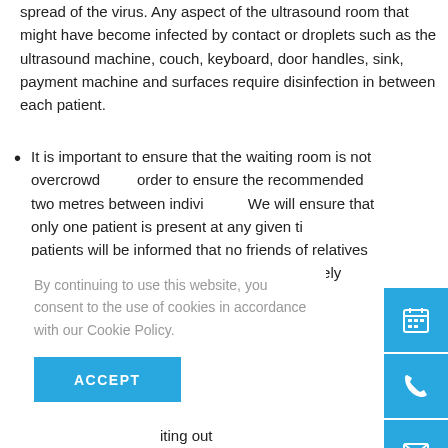spread of the virus. Any aspect of the ultrasound room that might have become infected by contact or droplets such as the ultrasound machine, couch, keyboard, door handles, sink, payment machine and surfaces require disinfection in between each patient.
It is important to ensure that the waiting room is not overcrowded in order to ensure the recommended two metres between individuals. We will ensure that only one patient is present at any given time and patients will be informed that no friends of relatives should arrive with the patient unless absolutely necessary. The IUS receptionist will monitor the clinic waiting room. Patients will be asked to arrive no more than 15 minutes before their appointment time and they should consider waiting outside rather than in the waiting room. Masks should be used during this time. The entrance will be different to the exit, therefore the exit door will be identifiable.
ll be told to take
it will be the
By continuing to use this website, you consent to the use of cookies in accordance with our Cookie Policy.
ACCEPT